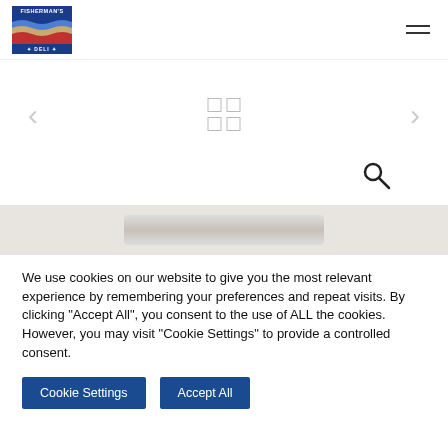FISHERMAN'S DELI - Navigation header with logo and hamburger menu
[Figure (screenshot): Website screenshot showing Fisherman's Deli page with navigation arrows, grid icon, search icon, and partial food image, overlaid with a cookie consent banner]
We use cookies on our website to give you the most relevant experience by remembering your preferences and repeat visits. By clicking "Accept All", you consent to the use of ALL the cookies. However, you may visit "Cookie Settings" to provide a controlled consent.
Cookie Settings
Accept All